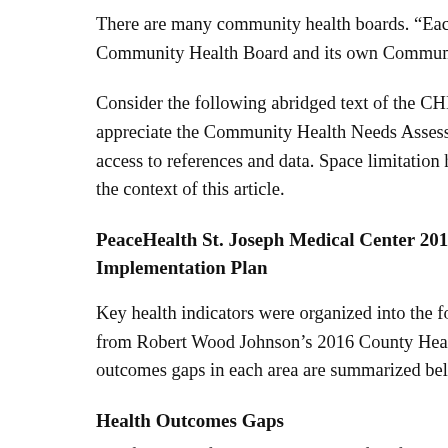There are many community health boards. “Each hospital in the Community Health Board and its own Community Health Need…
Consider the following abridged text of the CHNA plan, and see appreciate the Community Health Needs Assessment 2016-2019 access to references and data. Space limitation here required tha the context of this article.
PeaceHealth St. Joseph Medical Center 2016-2019 Commun… Implementation Plan
Key health indicators were organized into the four community h from Robert Wood Johnson’s 2016 County Health Rankings and outcomes gaps in each area are summarized below.
Health Outcomes Gaps
The following four gaps were identified for action from the 201…